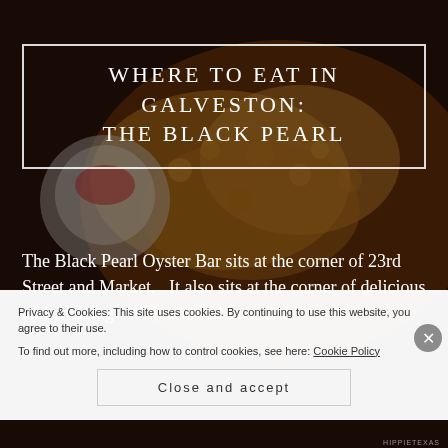[Figure (photo): Background photo of fried seafood (oysters or shrimp) with dipping sauce on a dark wooden surface, dimmed/darkened overlay]
WHERE TO EAT IN GALVESTON: THE BLACK PEARL
The Black Pearl Oyster Bar sits at the corner of 23rd Street and Market.   It also sits at the corner of delicious and amazing.  With seafood favorites
Privacy & Cookies: This site uses cookies. By continuing to use this website, you agree to their use.
To find out more, including how to control cookies, see here: Cookie Policy
Close and accept